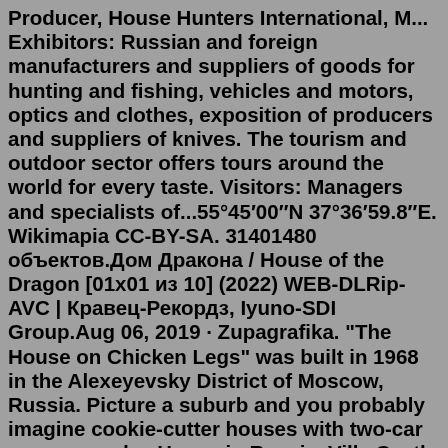Producer, House Hunters International, M... Exhibitors: Russian and foreign manufacturers and suppliers of goods for hunting and fishing, vehicles and motors, optics and clothes, exposition of producers and suppliers of knives. The tourism and outdoor sector offers tours around the world for every taste. Visitors: Managers and specialists of...55°45′00″N 37°36′59.8″E. Wikimapia CC-BY-SA. 31401480 объектов.Дом Дракона / House of the Dragon [01x01 из 10] (2022) WEB-DLRip-AVC | Кравец-Рекордз, Iyuno-SDI Group.Aug 06, 2019 · Zupagrafika. "The House on Chicken Legs" was built in 1968 in the Alexeyevsky District of Moscow, Russia. Picture a suburb and you probably imagine cookie-cutter houses with two-car garages and ... House in Russia. Villa Castle Cottage Mansion Townhouse Chalet Duplex Fourplex Bungalow. International Overseas Real Estate Exhibition MPIRES in Expocentre, Moscow.Jun 17, 2009 · If you are in the final stages of closing on a home or have recently bought a home, please be aware that this is...